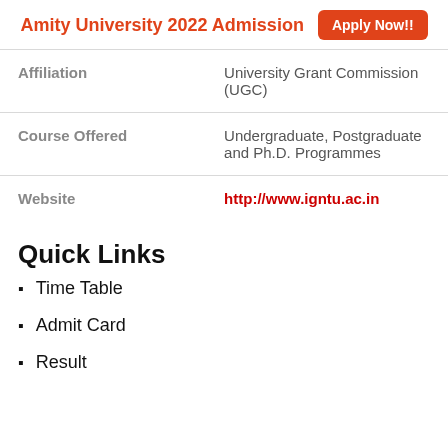Amity University 2022 Admission  Apply Now!!
| Affiliation | University Grant Commission (UGC) |
| Course Offered | Undergraduate, Postgraduate and Ph.D. Programmes |
| Website | http://www.igntu.ac.in |
Quick Links
Time Table
Admit Card
Result